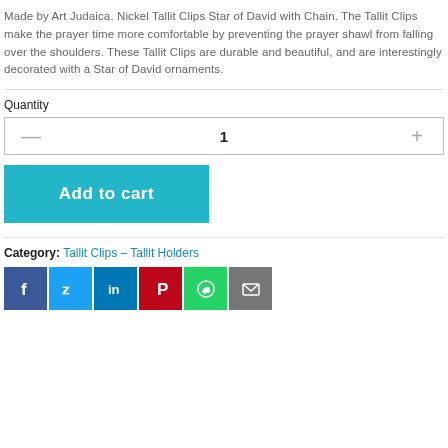Made by Art Judaica. Nickel Tallit Clips Star of David with Chain. The Tallit Clips make the prayer time more comfortable by preventing the prayer shawl from falling over the shoulders. These Tallit Clips are durable and beautiful, and are interestingly decorated with a Star of David ornaments.
Quantity
1
Add to cart
Category: Tallit Clips – Tallit Holders
[Figure (other): Social media share icons: Facebook, Twitter, LinkedIn, Pinterest, WhatsApp, Email]